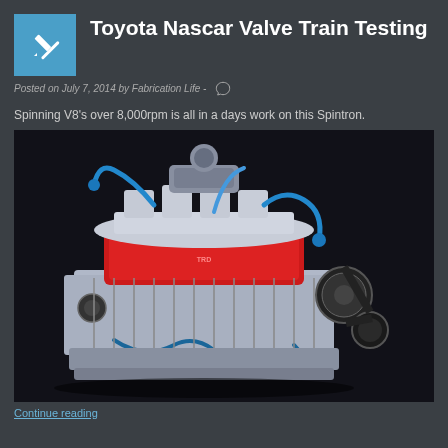Toyota Nascar Valve Train Testing
Posted on July 7, 2014 by Fabrication Life
Spinning V8's over 8,000rpm is all in a days work on this Spintron.
[Figure (photo): A Toyota NASCAR V8 engine with red valve covers, polished intake manifold, blue hoses and fittings, and black belt-driven accessories, photographed against a dark background.]
Continue reading